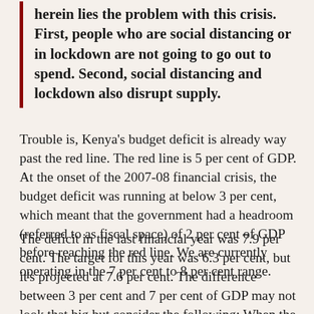herein lies the problem with this crisis. First, people who are social distancing or in lockdown are not going to go out to spend. Second, social distancing and lockdown also disrupt supply.
Trouble is, Kenya's budget deficit is already way past the red line. The red line is 5 per cent of GDP. At the onset of the 2007-08 financial crisis, the budget deficit was running at below 3 per cent, which meant that the government had a headroom (referred to as fiscal space) of 2 per cent of GDP before reaching the red line. We are currently operating in the 7 per cent to 8 per cent range.
The deficit in the last financial year was 7.9 per cent. The target for this year was 6.3 per cent, but it's projected at 7.6 per cent. The difference between 3 per cent and 7 per cent of GDP may not look that big but consider the following: When the deficit was 3 per cent, revenue was